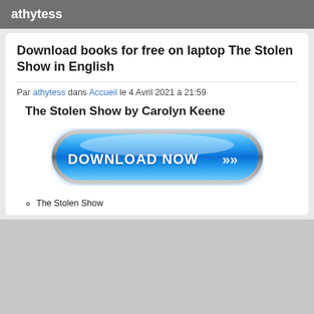athytess
Download books for free on laptop The Stolen Show in English
Par athytess dans Accueil le 4 Avril 2021 à 21:59
The Stolen Show by Carolyn Keene
[Figure (illustration): A blue glossy rounded Download Now button with double chevron arrows, metallic silver border, and blue glow effect]
The Stolen Show